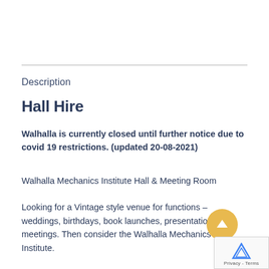Description
Hall Hire
Walhalla is currently closed until further notice due to covid 19 restrictions. (updated 20-08-2021)
Walhalla Mechanics Institute Hall & Meeting Room
Looking for a Vintage style venue for functions – weddings, birthdays, book launches, presentations or meetings. Then consider the Walhalla Mechanics Institute.